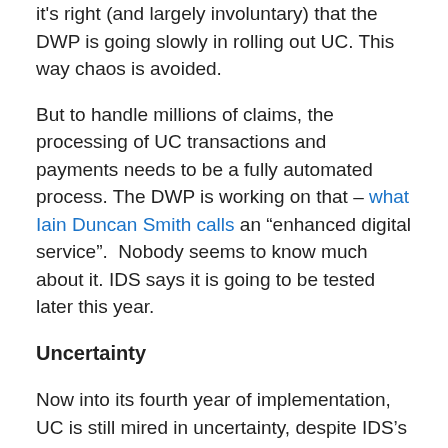it's right (and largely involuntary) that the DWP is going slowly in rolling out UC. This way chaos is avoided.
But to handle millions of claims, the processing of UC transactions and payments needs to be a fully automated process. The DWP is working on that – what Iain Duncan Smith calls an “enhanced digital service”.  Nobody seems to know much about it. IDS says it is going to be tested later this year.
Uncertainty
Now into its fourth year of implementation, UC is still mired in uncertainty, despite IDS’s self-confident remarks at the Tory conference.
The facts are likely to emerge when the National Audit Office publishes its updated report which is expected